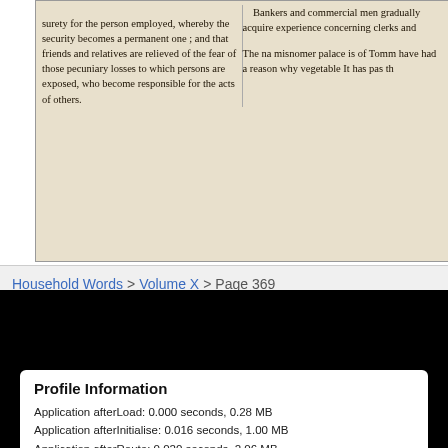[Figure (screenshot): Scanned page from Household Words showing two-column text about bankers, clerks, security, and other topics in serif typeface on aged paper background]
Household Words > Volume X > Page 369
Dickens
Profile Information
Application afterLoad: 0.000 seconds, 0.28 MB
Application afterInitialise: 0.016 seconds, 1.00 MB
Application afterRoute: 0.020 seconds, 2.06 MB
Application afterDispatch: 0.065 seconds, 3.64 MB
Application afterRender: 0.103 seconds, 3.97 MB